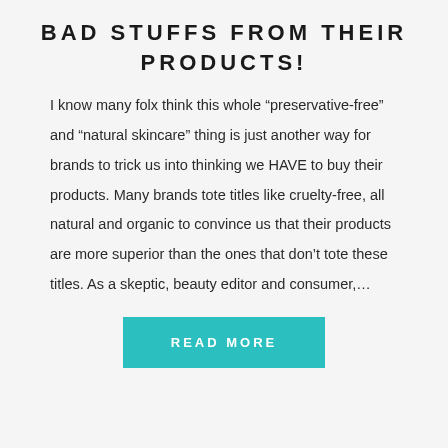BAD STUFFS FROM THEIR PRODUCTS!
I know many folx think this whole “preservative-free” and “natural skincare” thing is just another way for brands to trick us into thinking we HAVE to buy their products. Many brands tote titles like cruelty-free, all natural and organic to convince us that their products are more superior than the ones that don’t tote these titles. As a skeptic, beauty editor and consumer,…
READ MORE